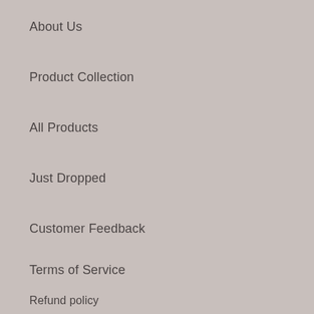About Us
Product Collection
All Products
Just Dropped
Customer Feedback
Terms of Service
Refund policy
Customer Support